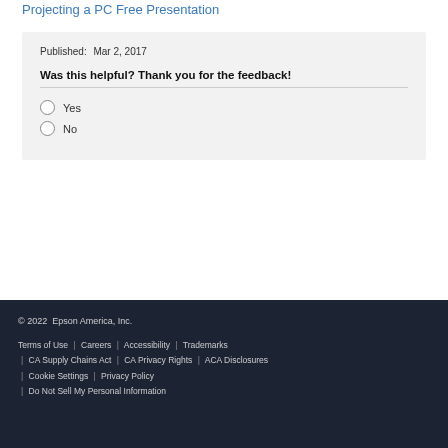Projecting a PC Free Presentation
Published:  Mar 2, 2017
Was this helpful? Thank you for the feedback!
Yes
No
© 2022  Epson America, Inc.
Terms of Use  |  Careers  |  Accessibility  |  Trademarks  |  CA Supply Chains Act  |  CA Privacy Rights  |  ACA Disclosures  |  Cookie Settings  |  Privacy Policy  |  Do Not Sell My Personal Information